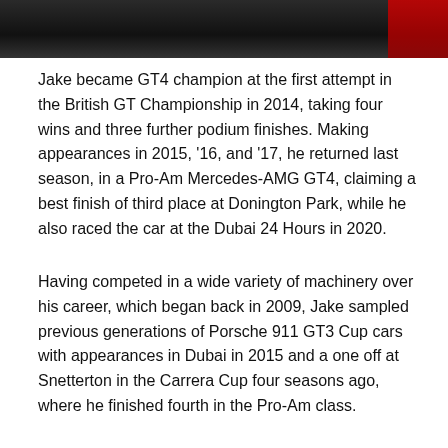[Figure (photo): Top portion of a photo showing a person in racing attire against a dark background with a red element on the right side]
Jake became GT4 champion at the first attempt in the British GT Championship in 2014, taking four wins and three further podium finishes. Making appearances in 2015, ‘16, and ‘17, he returned last season, in a Pro-Am Mercedes-AMG GT4, claiming a best finish of third place at Donington Park, while he also raced the car at the Dubai 24 Hours in 2020.
Having competed in a wide variety of machinery over his career, which began back in 2009, Jake sampled previous generations of Porsche 911 GT3 Cup cars with appearances in Dubai in 2015 and a one off at Snetterton in the Carrera Cup four seasons ago, where he finished fourth in the Pro-Am class.